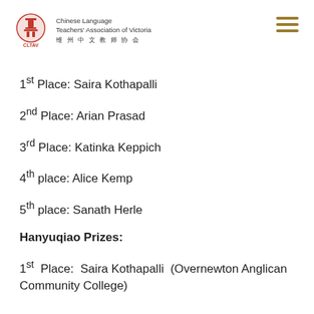[Figure (logo): CLTAV logo — red circular emblem with Chinese character design, with text 'Chinese Language Teachers' Association of Victoria' and Chinese characters '维州中文教师协会']
1st Place: Saira Kothapalli
2nd Place: Arian Prasad
3rd Place: Katinka Keppich
4th place: Alice Kemp
5th place: Sanath Herle
Hanyuqiao Prizes:
1st Place: Saira Kothapalli (Overnewton Anglican Community College)